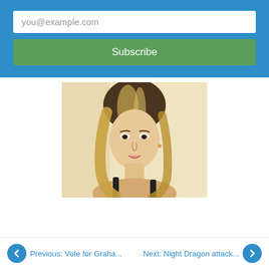you@example.com
Subscribe
[Figure (photo): Portrait photo of a young blonde woman with hair pulled back, wearing a black top, smiling slightly at the camera against a light background.]
Previous: Vote for Graha...
Next: Night Dragon attack...